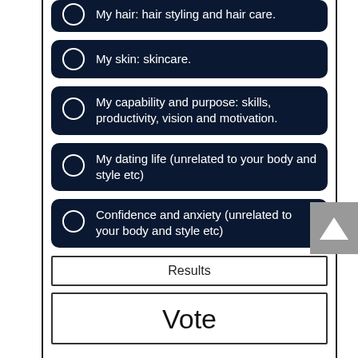My hair: hair styling and hair care.
My skin: skincare.
My capability and purpose: skills, productivity, vision and motivation.
My dating life (unrelated to your body and style etc)
Confidence and anxiety (unrelated to your body and style etc)
Results
Vote